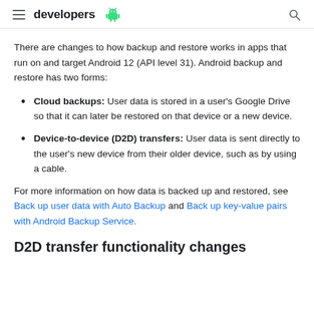developers
There are changes to how backup and restore works in apps that run on and target Android 12 (API level 31). Android backup and restore has two forms:
Cloud backups: User data is stored in a user's Google Drive so that it can later be restored on that device or a new device.
Device-to-device (D2D) transfers: User data is sent directly to the user's new device from their older device, such as by using a cable.
For more information on how data is backed up and restored, see Back up user data with Auto Backup and Back up key-value pairs with Android Backup Service.
D2D transfer functionality changes